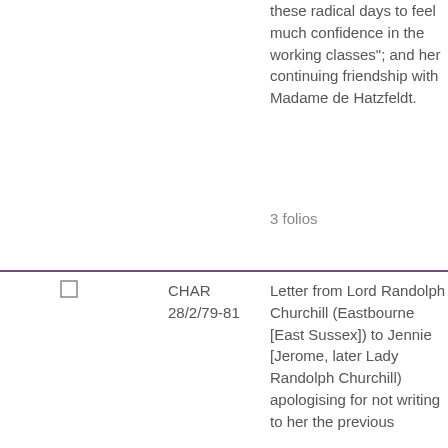these radical days to feel much confidence in the working classes"; and her continuing friendship with Madame de Hatzfeldt.
3 folios
CHAR 28/2/79-81
Letter from Lord Randolph Churchill (Eastbourne [East Sussex]) to Jennie [Jerome, later Lady Randolph Churchill) apologising for not writing to her the previous